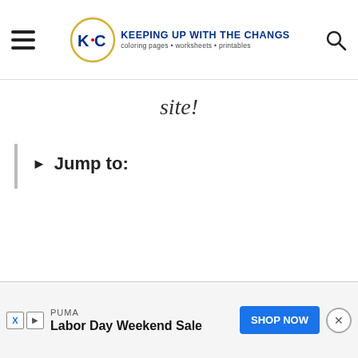KEEPING UP WITH THE CHANGS — coloring pages • worksheets • printables
site!
Jump to:
[Figure (infographic): Advertisement banner: PUMA — Labor Day Weekend Sale — SHOP NOW button]